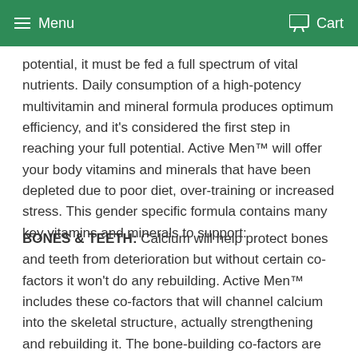Menu  Cart
potential, it must be fed a full spectrum of vital nutrients. Daily consumption of a high-potency multivitamin and mineral formula produces optimum efficiency, and it's considered the first step in reaching your full potential. Active Men™ will offer your body vitamins and minerals that have been depleted due to poor diet, over-training or increased stress. This gender specific formula contains many key vitamins and minerals to support:
BONES & TEETH: Calcium will help protect bones and teeth from deterioration but without certain co-factors it won't do any rebuilding. Active Men™ includes these co-factors that will channel calcium into the skeletal structure, actually strengthening and rebuilding it. The bone-building co-factors are Boron, Silica, Vitamin D3 and Vitamin K2.